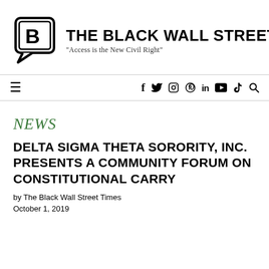[Figure (logo): The Black Wall Street Times logo: a speech bubble icon with letter B, alongside the publication name and tagline 'Access is the New Civil Right']
☰    f  𝕐  ⊙  ℗  in  ▶  ♩  🔍
NEWS
DELTA SIGMA THETA SORORITY, INC. PRESENTS A COMMUNITY FORUM ON CONSTITUTIONAL CARRY
by The Black Wall Street Times
October 1, 2019